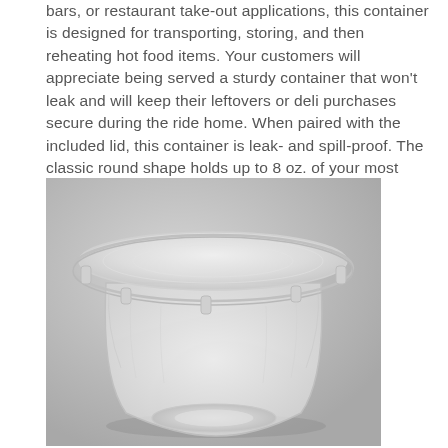bars, or restaurant take-out applications, this container is designed for transporting, storing, and then reheating hot food items. Your customers will appreciate being served a sturdy container that won't leak and will keep their leftovers or deli purchases secure during the ride home. When paired with the included lid, this container is leak- and spill-proof. The classic round shape holds up to 8 oz. of your most popular hot and cold foods.
[Figure (photo): A round transparent plastic food storage container with a clear lid, photographed on a light gray background. The container is a classic deli-style round shape, shown from a slight angle above.]